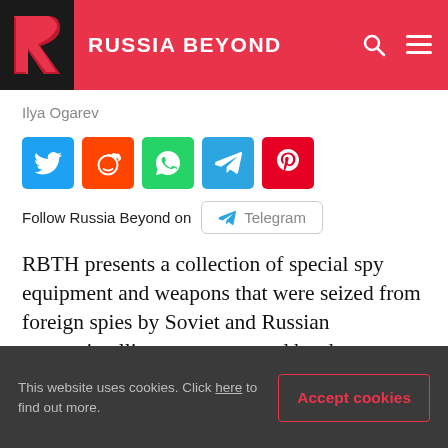RUSSIA BEYOND
Ilya Ogarev
[Figure (other): Social share buttons: Twitter, Reddit, WhatsApp, Telegram, Pinterest]
Follow Russia Beyond on Telegram
RBTH presents a collection of special spy equipment and weapons that were seized from foreign spies by Soviet and Russian counterintelligence agents, and border officials.
This website uses cookies. Click here to find out more. Accept cookies